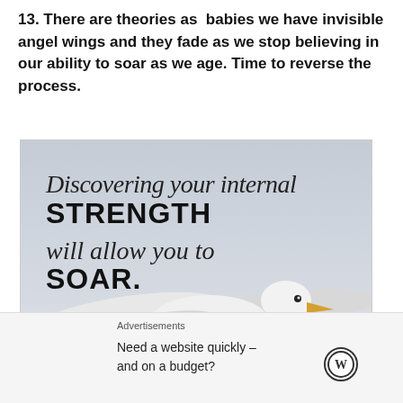13. There are theories as babies we have invisible angel wings and they fade as we stop believing in our ability to soar as we age. Time to reverse the process.
[Figure (photo): A seagull soaring in flight against a grey sky background, with the handwritten-style text overlay: 'Discovering your internal STRENGTH will allow you to SOAR.']
Advertisements
Need a website quickly – and on a budget?